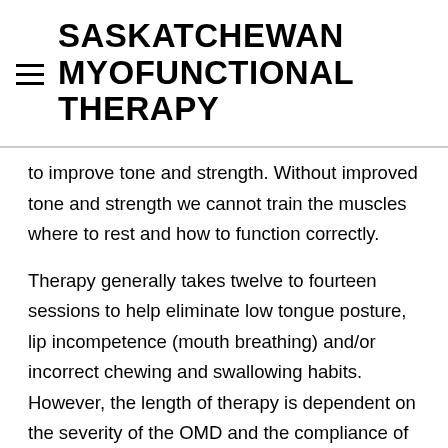SASKATCHEWAN MYOFUNCTIONAL THERAPY
to improve tone and strength. Without improved tone and strength we cannot train the muscles where to rest and how to function correctly.
Therapy generally takes twelve to fourteen sessions to help eliminate low tongue posture, lip incompetence (mouth breathing) and/or incorrect chewing and swallowing habits. However, the length of therapy is dependent on the severity of the OMD and the compliance of the patient throughout the program.
Pre and Post Frenectomy care is included in the Myofunctional Therapy Program. We recommend pre